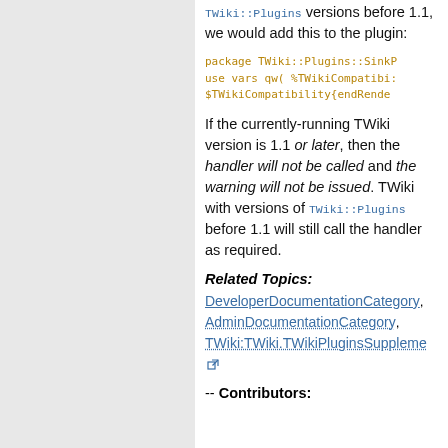TWiki::Plugins versions before 1.1, we would add this to the plugin:
package TWiki::Plugins::SinkP
use vars qw( %TWikiCompatibi:
$TWikiCompatibility{endRender
If the currently-running TWiki version is 1.1 or later, then the handler will not be called and the warning will not be issued. TWiki with versions of TWiki::Plugins before 1.1 will still call the handler as required.
Related Topics:
DeveloperDocumentationCategory, AdminDocumentationCategory, TWiki:TWiki.TWikiPluginsSuppleme...
-- Contributors: